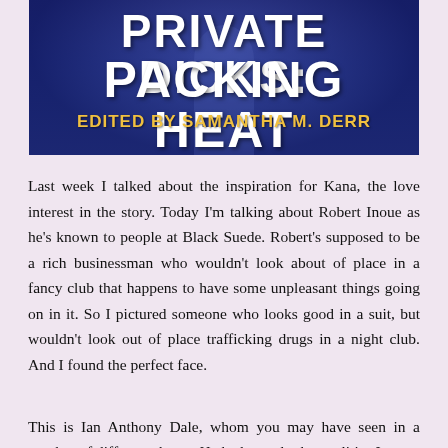[Figure (illustration): Book cover for 'Private Dicks: Packing Heat' edited by Samantha M. Derr. Dark navy blue background with title text in white bold serif font and subtitle in gold/yellow bold font.]
Last week I talked about the inspiration for Kana, the love interest in the story. Today I'm talking about Robert Inoue as he's known to people at Black Suede. Robert's supposed to be a rich businessman who wouldn't look about of place in a fancy club that happens to have some unpleasant things going on in it. So I pictured someone who looks good in a suit, but wouldn't look out of place trafficking drugs in a night club. And I found the perfect face.
This is Ian Anthony Dale, whom you may have seen in a number of different shows. He had exactly the qualities I